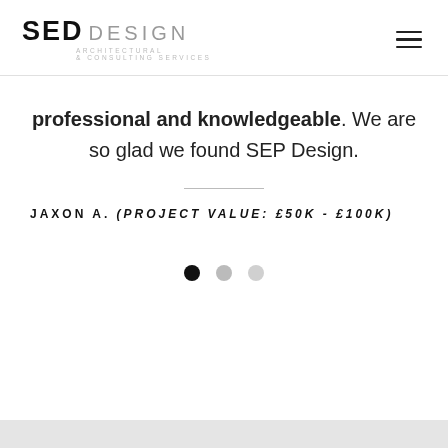SEP DESIGN ARCHITECTURAL & CONSULTING SERVICES
professional and knowledgeable. We are so glad we found SEP Design.
JAXON A. (PROJECT VALUE: £50K - £100K)
[Figure (infographic): Three pagination dots: first dot is filled black (active), second and third dots are light grey (inactive)]